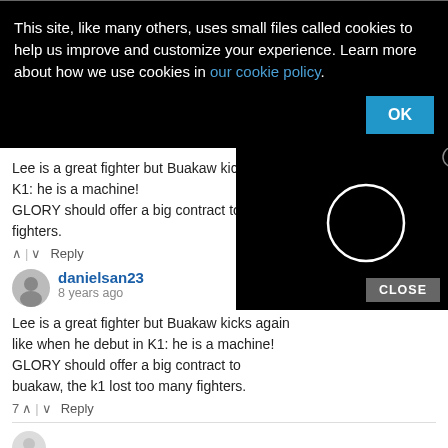This site, like many others, uses small files called cookies to help us improve and customize your experience. Learn more about how we use cookies in our cookie policy.
OK
Lee is a great fighter but Buakaw kicks again like when he debut in K1: he is a machine!
GLORY should offer a big contract to buakaw, the k1 lost too many fighters.
Reply
danielsan23
8 years ago
Lee is a great fighter but Buakaw kicks again like when he debut in K1: he is a machine!
GLORY should offer a big contract to buakaw, the k1 lost too many fighters.
CLOSE
7  Reply